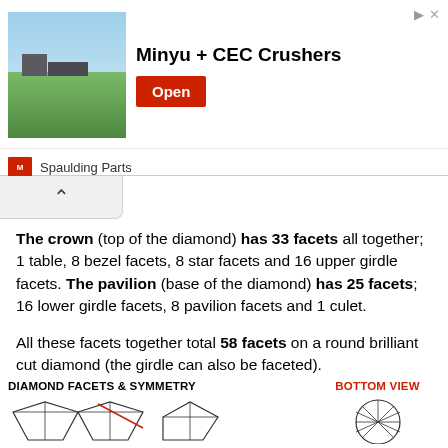[Figure (screenshot): Advertisement banner for Minyu + CEC Crushers by Spaulding Parts, showing a golf course or field image, bold text and an Open button]
The crown (top of the diamond) has 33 facets all together; 1 table, 8 bezel facets, 8 star facets and 16 upper girdle facets. The pavilion (base of the diamond) has 25 facets; 16 lower girdle facets, 8 pavilion facets and 1 culet.
All these facets together total 58 facets on a round brilliant cut diamond (the girdle can also be faceted).
So now, take a look at the actual facets of a brilliant cut diamond below:
[Figure (illustration): Diamond facets and symmetry diagram showing side and bottom views of a brilliant cut diamond, with labels DIAMOND FACETS & SYMMETRY and BOTTOM VIEW]